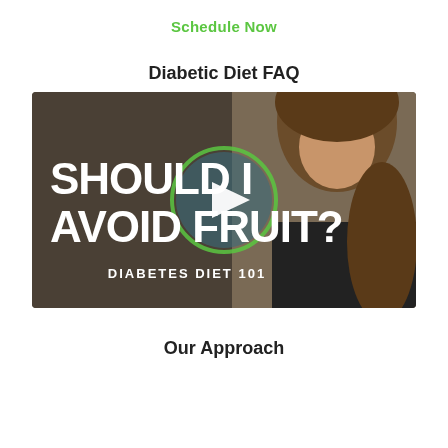Schedule Now
Diabetic Diet FAQ
[Figure (screenshot): Video thumbnail showing a woman speaking, with large white bold text reading 'SHOULD I AVOID FRUIT?' and subtitle 'DIABETES DIET 101'. A circular play button is overlaid in the center.]
Our Approach